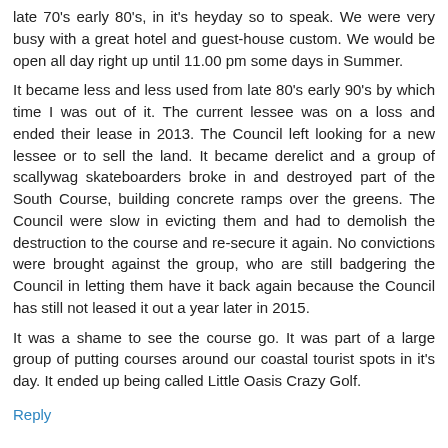late 70's early 80's, in it's heyday so to speak. We were very busy with a great hotel and guest-house custom. We would be open all day right up until 11.00 pm some days in Summer.
It became less and less used from late 80's early 90's by which time I was out of it. The current lessee was on a loss and ended their lease in 2013. The Council left looking for a new lessee or to sell the land. It became derelict and a group of scallywag skateboarders broke in and destroyed part of the South Course, building concrete ramps over the greens. The Council were slow in evicting them and had to demolish the destruction to the course and re-secure it again. No convictions were brought against the group, who are still badgering the Council in letting them have it back again because the Council has still not leased it out a year later in 2015.
It was a shame to see the course go. It was part of a large group of putting courses around our coastal tourist spots in it's day. It ended up being called Little Oasis Crazy Golf.
Reply